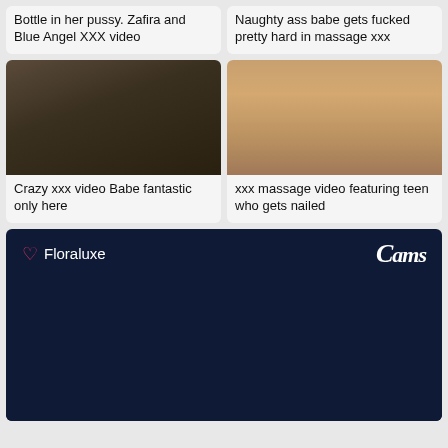Bottle in her pussy. Zafira and Blue Angel XXX video
Naughty ass babe gets fucked pretty hard in massage xxx
[Figure (photo): Woman on dark couch, adult content thumbnail]
[Figure (photo): Close-up adult content thumbnail]
Crazy xxx video Babe fantastic only here
xxx massage video featuring teen who gets nailed
[Figure (screenshot): Cams.com live cam interface showing Floraluxe profile on dark navy background]